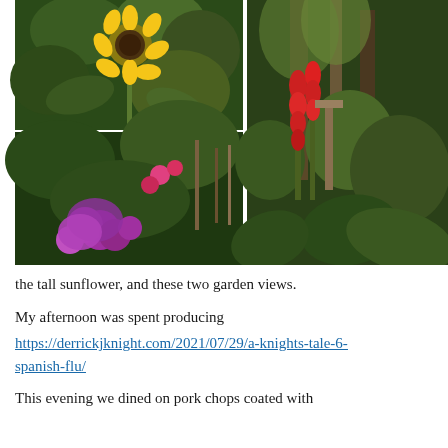[Figure (photo): Grid of three garden photos: top-left shows a tall sunflower with green foliage, bottom-left shows a lush garden path with purple and pink flowers, right shows a tall garden view with red flowers (gladioli), green tropical foliage and trees.]
the tall sunflower, and these two garden views.
My afternoon was spent producing
https://derrickjknight.com/2021/07/29/a-knights-tale-6-spanish-flu/
This evening we dined on pork chops coated with